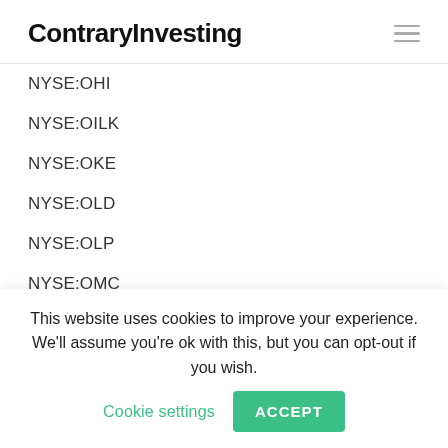ContraryInvesting
NYSE:OHI
NYSE:OILK
NYSE:OKE
NYSE:OLD
NYSE:OLP
NYSE:OMC
NYSE:OMF
NYSE:OPP
NYSE:ORC
This website uses cookies to improve your experience. We'll assume you're ok with this, but you can opt-out if you wish. Cookie settings ACCEPT